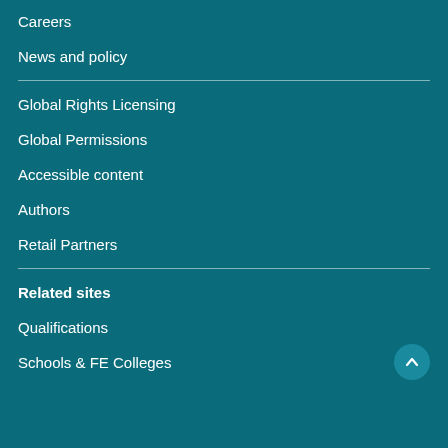Careers
News and policy
Global Rights Licensing
Global Permissions
Accessible content
Authors
Retail Partners
Related sites
Qualifications
Schools & FE Colleges